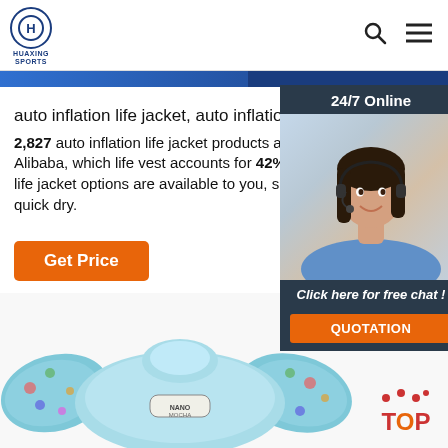HUAXING SPORTS
auto inflation life jacket, auto inflation life jacket ...
2,827 auto inflation life jacket products are offered for sale by suppliers on Alibaba.com, which life vest accounts for 42%. A wide variety of auto inflation life jacket options are available to you, such as sustainable, breathable and quick dry.
[Figure (photo): Customer service representative with headset, 24/7 Online chat popup with QUOTATION button]
[Figure (photo): Blue children's life jacket/vest with colorful printed sleeves and brand label]
[Figure (logo): TOP badge with red dots and colored letters]